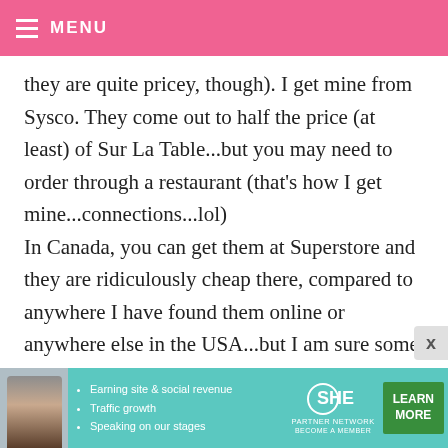MENU
they are quite pricey, though). I get mine from Sysco. They come out to half the price (at least) of Sur La Table...but you may need to order through a restaurant (that's how I get mine...connections...lol)
In Canada, you can get them at Superstore and they are ridiculously cheap there, compared to anywhere I have found them online or anywhere else in the USA...but I am sure some of you are lucky enough, like Bakerella
[Figure (photo): Advertisement banner for SHE Partner Network with woman photo, bullet points about earning site & social revenue, traffic growth, speaking on our stages, SHE logo, and Learn More button]